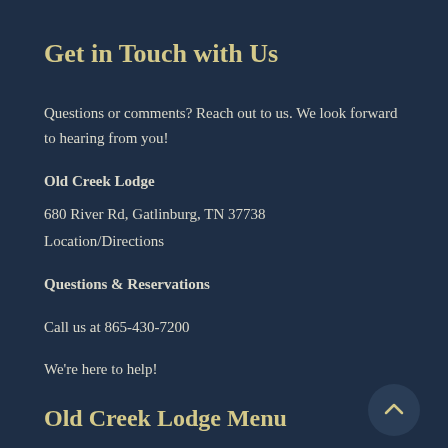Get in Touch with Us
Questions or comments? Reach out to us. We look forward to hearing from you!
Old Creek Lodge
680 River Rd, Gatlinburg, TN 37738
Location/Directions
Questions & Reservations
Call us at 865-430-7200
We're here to help!
Old Creek Lodge Menu